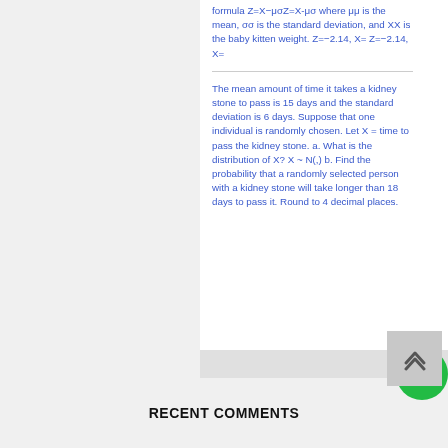formula Z=X−μσZ=X-μσ  where μμ  is the mean, σσ  is the standard deviation, and XX  is the baby kitten weight.  Z=−2.14, X=  Z=−2.14, X=
The mean amount of time it takes a kidney stone to pass is 15 days and the standard deviation is 6 days. Suppose that one individual is randomly chosen. Let X = time to pass the kidney stone. a. What is the distribution of X? X ~ N(,) b. Find the probability that a randomly selected person with a kidney stone will take longer than 18 days to pass it. Round to 4 decimal places.
RECENT COMMENTS